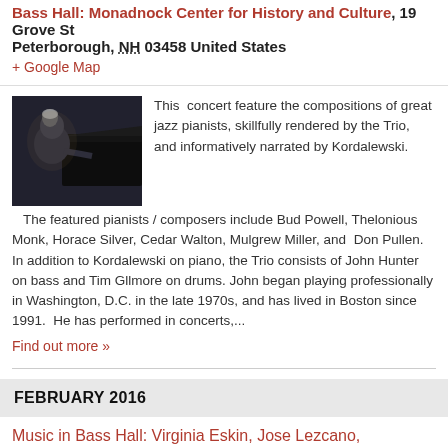Bass Hall: Monadnock Center for History and Culture, 19 Grove St Peterborough, NH 03458 United States
+ Google Map
[Figure (photo): Black and white photo of a jazz pianist performing at a piano, photographed from the side in dim lighting]
This concert feature the compositions of great jazz pianists, skillfully rendered by the Trio, and informatively narrated by Kordalewski. The featured pianists / composers include Bud Powell, Thelonious Monk, Horace Silver, Cedar Walton, Mulgrew Miller, and Don Pullen. In addition to Kordalewski on piano, the Trio consists of John Hunter on bass and Tim Gllmore on drums. John began playing professionally in Washington, D.C. in the late 1970s, and has lived in Boston since 1991. He has performed in concerts,...
Find out more »
FEBRUARY 2016
Music in Bass Hall: Virginia Eskin, Jose Lezcano,